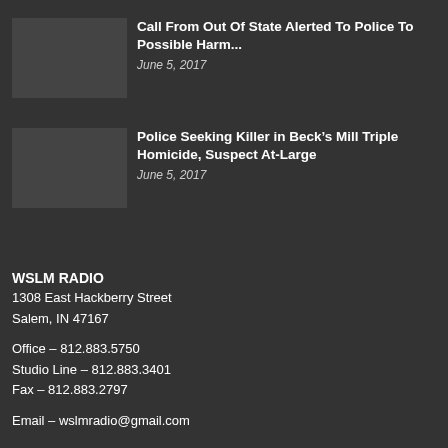Call From Out Of State Alerted To Police To Possible Harm...
June 5, 2017
Police Seeking Killer in Beck’s Mill Triple Homicide, Suspect At-Large
June 5, 2017
WSLM RADIO
1308 East Hackberry Street
Salem, IN 47167
Office – 812.883.5750
Studio Line – 812.883.3401
Fax – 812.883.2797
Email – wslmradio@gmail.com